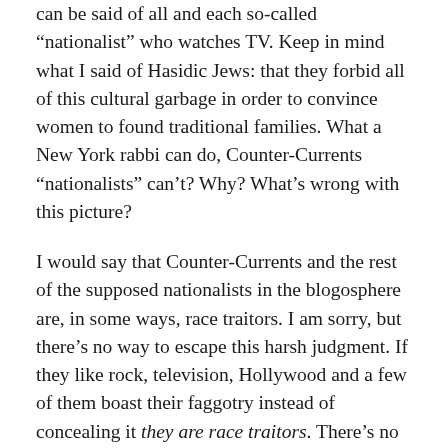can be said of all and each so-called “nationalist” who watches TV. Keep in mind what I said of Hasidic Jews: that they forbid all of this cultural garbage in order to convince women to found traditional families. What a New York rabbi can do, Counter-Currents “nationalists” can’t? Why? What’s wrong with this picture?
I would say that Counter-Currents and the rest of the supposed nationalists in the blogosphere are, in some ways, race traitors. I am sorry, but there’s no way to escape this harsh judgment. If they like rock, television, Hollywood and a few of them boast their faggotry instead of concealing it they are race traitors. There’s no way to avoid this judgment if you realize that precisely pop music